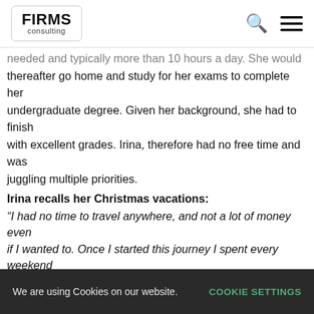FIRMS consulting
needed and typically more than 10 hours a day. She would thereafter go home and study for her exams to complete her undergraduate degree. Given her background, she had to finish with excellent grades. Irina, therefore had no free time and was juggling multiple priorities.
Irina recalls her Christmas vacations:
“I had no time to travel anywhere, and not a lot of money even if I wanted to. Once I started this journey I spent every weekend and holiday studying. I had friends but did not want to impose on their families and felt if I visited, it would be rude to spend just an hour or two and leave. My Christmas dinner was taking a 2 hour break to eat canned turkey slices while watching TV. What gave me a lot of hope was that the strategy we had
We are using Cookies on our website.  COOKIE SETTINGS